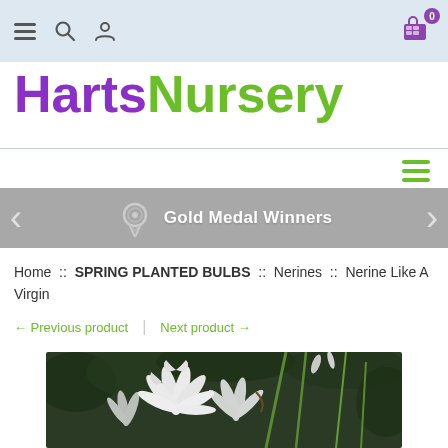HartsNursery — Navigation bar with hamburger menu, search, user, and cart icons
HartsNursery
Gold Medal Winners
Home :: SPRING PLANTED BULBS :: Nerines :: Nerine Like A Virgin
← Previous product | Next product →
[Figure (photo): Close-up photo of white Nerine 'Like A Virgin' flowers with curled petals against a blurred green background]